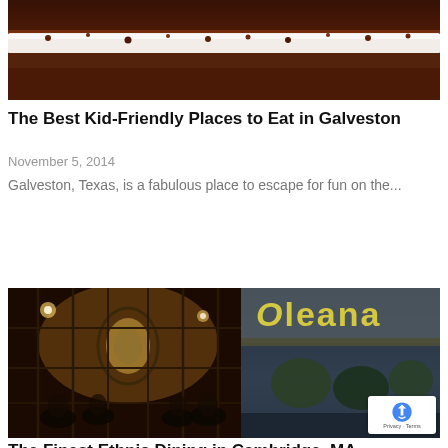[Figure (photo): Close-up photo of a chocolate dessert with white cream/foam layer and chocolate crumble topping]
The Best Kid-Friendly Places to Eat in Galveston
November 5, 2014
Galveston, Texas, is a fabulous place to escape for fun on the...
[Figure (photo): Collage of two restaurant photos: left shows interior of a dimly lit restaurant with stained glass window and diners; right shows exterior sign of Oleana restaurant in Cambridge MA]
The Finest Ethnic Dining in Cambridge, MA